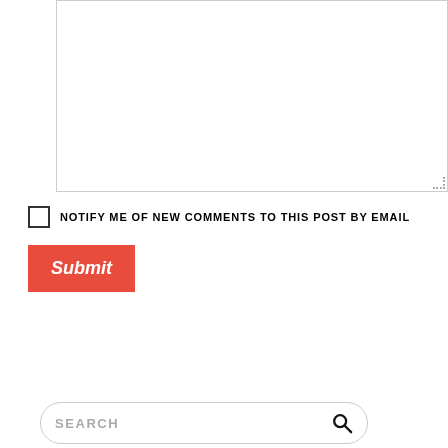[Figure (screenshot): A comment text area input box, empty, with a resize handle in the bottom-right corner.]
NOTIFY ME OF NEW COMMENTS TO THIS POST BY EMAIL
[Figure (screenshot): A red Submit button with white italic bold text.]
[Figure (screenshot): A rounded search bar with placeholder text SEARCH and a magnifying glass icon on the right.]